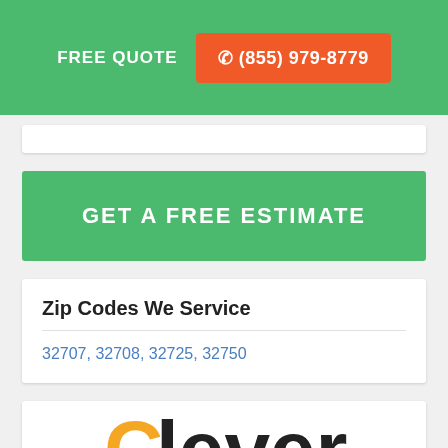FREE QUOTE  ☎ (855) 979-8779
GET A FREE ESTIMATE
Zip Codes We Service
32707, 32708, 32725, 32750
[Figure (logo): Clever Cost Guides logo with yellow C and orange lightbulb icon]